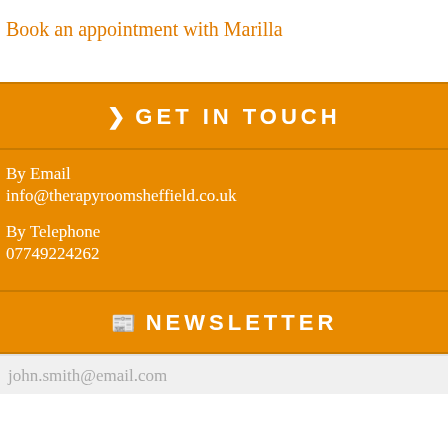Book an appointment with Marilla
❯ GET IN TOUCH
By Email
info@therapyroomsheffield.co.uk
By Telephone
07749224262
📰 NEWSLETTER
john.smith@email.com